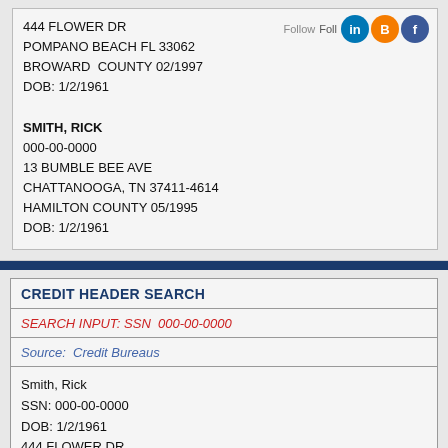444 FLOWER DR
POMPANO BEACH FL 33062
BROWARD  COUNTY 02/1997
DOB: 1/2/1961

SMITH, RICK
000-00-0000
13 BUMBLE BEE AVE
CHATTANOOGA, TN 37411-4614
HAMILTON COUNTY 05/1995
DOB: 1/2/1961
[Figure (logo): Follow us icons: LinkedIn, Blogger, Facebook]
CREDIT HEADER SEARCH
SEARCH INPUT: SSN  000-00-0000
Source:  Credit Bureaus
Smith, Rick
SSN: 000-00-0000
DOB: 1/2/1961
444 FLOWER DR
POMPANO BEACH FL 33062
BROWARD  COUNTY 02/1997